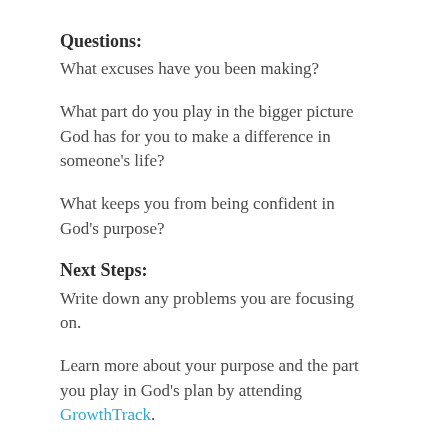Questions:
What excuses have you been making?
What part do you play in the bigger picture God has for you to make a difference in someone's life?
What keeps you from being confident in God's purpose?
Next Steps:
Write down any problems you are focusing on.
Learn more about your purpose and the part you play in God's plan by attending GrowthTrack.
Step into opportunities around you by joining a Group or Join others at a 2nd Saturday Serve. On the second Saturday of each month, we come together to demonstrate God's love in practical ways by serving